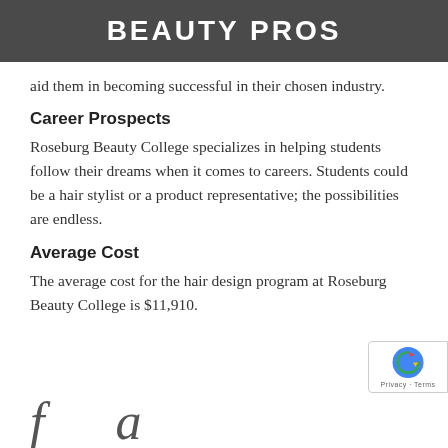BEAUTY PROS
aid them in becoming successful in their chosen industry.
Career Prospects
Roseburg Beauty College specializes in helping students follow their dreams when it comes to careers. Students could be a hair stylist or a product representative; the possibilities are endless.
Average Cost
The average cost for the hair design program at Roseburg Beauty College is $11,910.